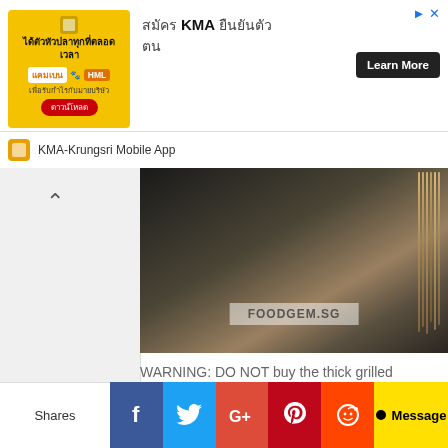[Figure (screenshot): Mobile app advertisement banner for KMA-Krungsri Mobile App with yellow background, Thai text, and Learn More button]
[Figure (photo): Photo of grilled skewers/cuttlefish on a grill with FOODGEM.SG watermark]
WARNING: DO NOT buy the thick grilled cuttlefish on the right in the picture below. It had a strong fishy and bad smell. The thin grilled cuttlefish on the left is fine.
[Figure (photo): Dark photo of food stall at night]
Shares | Facebook | Twitter | Google+ | Pinterest | Reddit | Message